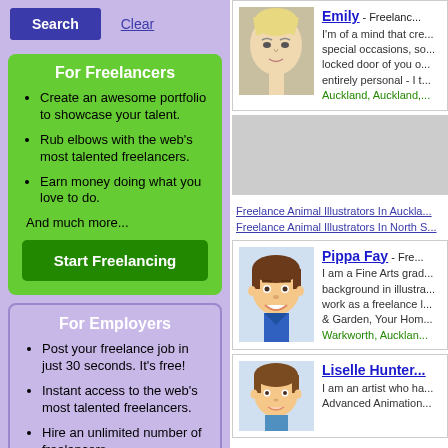For Freelancers
Create an awesome portfolio to showcase your talent.
Rub elbows with the web's most talented freelancers.
Earn money doing what you love to do.
And much more...
Start Freelancing
For Employers
Post your freelance job in just 30 seconds. It's free!
Instant access to the web's most talented freelancers.
Hire an unlimited number of freelancers.
And much more...
Post Your Job
Emily - Freelance...
I'm of a mind that cre... special occasions, so... locked door of you o... entirely personal - I t...
Auckland, Auckland,...
[Figure (photo): Photo of Emily, a blonde woman with short spiky hair]
[Figure (photo): Gray advertisement box]
Freelance Animal Illustrators In Auckla...
Freelance Animal Illustrators In North S...
Pippa Fay - Fre...
I am a Fine Arts grad... background in illustra... work as a freelance l... & Garden, Your Hom...
Warkworth, Aucklan...
[Figure (illustration): Cartoon avatar of a smiling man with brown hair wearing a blue shirt]
Liselle Hunter...
I am an artist who ha... Advanced Animation...
[Figure (illustration): Cartoon avatar of a person with brown hair]